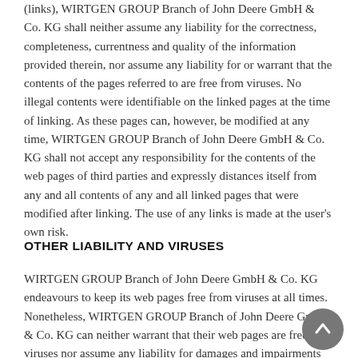(links), WIRTGEN GROUP Branch of John Deere GmbH & Co. KG shall neither assume any liability for the correctness, completeness, currentness and quality of the information provided therein, nor assume any liability for or warrant that the contents of the pages referred to are free from viruses. No illegal contents were identifiable on the linked pages at the time of linking. As these pages can, however, be modified at any time, WIRTGEN GROUP Branch of John Deere GmbH & Co. KG shall not accept any responsibility for the contents of the web pages of third parties and expressly distances itself from any and all contents of any and all linked pages that were modified after linking. The use of any links is made at the user's own risk.
OTHER LIABILITY AND VIRUSES
WIRTGEN GROUP Branch of John Deere GmbH & Co. KG endeavours to keep its web pages free from viruses at all times. Nonetheless, WIRTGEN GROUP Branch of John Deere GmbH & Co. KG can neither warrant that their web pages are free from viruses nor assume any liability for damages and impairments